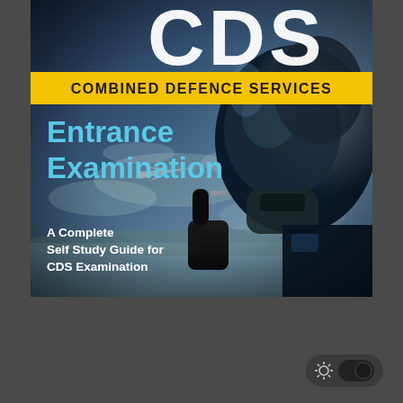[Figure (illustration): Book cover for CDS Combined Defence Services Entrance Examination. Shows a fighter jet pilot in cockpit giving thumbs up with another aircraft visible in background sky. Dark dramatic sky background.]
CDS
COMBINED DEFENCE SERVICES
Entrance Examination
A Complete Self Study Guide for CDS Examination